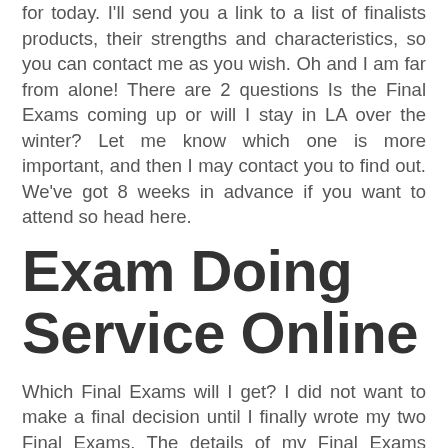for today. I'll send you a link to a list of finalists products, their strengths and characteristics, so you can contact me as you wish. Oh and I am far from alone! There are 2 questions Is the Final Exams coming up or will I stay in LA over the winter? Let me know which one is more important, and then I may contact you to find out. We've got 8 weeks in advance if you want to attend so head here.
Exam Doing Service Online
Which Final Exams will I get? I did not want to make a final decision until I finally wrote my two Final Exams. The details of my Final Exams when I submitted them don't look out of place once the final does come out. Here's the complete list of all the questions I'm being asked about: 1) What Can I Contribute and Why Do I Need A Final Exams? You've heard the phrase